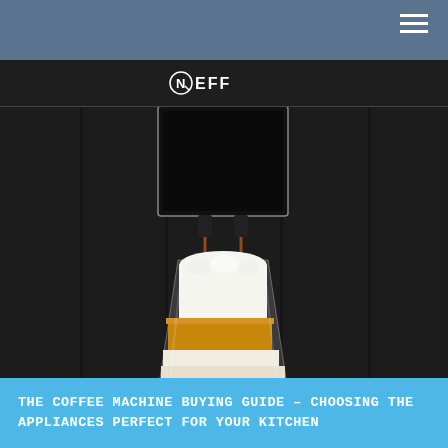[Figure (photo): NEFF built-in coffee machine dispensing a layered latte macchiato into a tall glass, on a dark background with vertical panel lines]
THE COFFEE MACHINE BUYING GUIDE – CHOOSING THE APPLIANCES PERFECT FOR YOUR KITCHEN